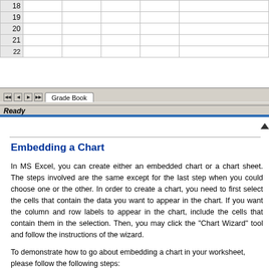[Figure (screenshot): MS Excel spreadsheet showing rows 18-22 with row numbers, empty cells in a grid layout, sheet tab bar with navigation arrows and 'Grade Book' tab, drawing toolbar with Draw, AutoShapes and other tools, and Ready status bar.]
Embedding a Chart
In MS Excel, you can create either an embedded chart or a chart sheet. The steps involved are the same except for the last step when you could choose one or the other.  In order to create a chart, you need to first select the cells that contain the data you want to appear in the chart.  If you want the column and row labels to appear in the chart, include the cells that contain them in the selection.  Then, you may click the "Chart Wizard" tool and follow the instructions of the wizard.
To demonstrate how to go about embedding a chart in your worksheet, please follow the following steps:
1. Highlight cell "C3" to "H9".